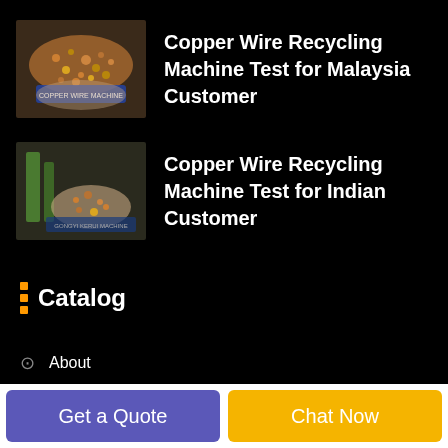[Figure (photo): Thumbnail image of copper granules in a hand with a blue labeled bag/measuring device]
Copper Wire Recycling Machine Test for Malaysia Customer
[Figure (photo): Thumbnail image of a hand holding copper wire granules with a green item visible, company logo/text on image]
Copper Wire Recycling Machine Test for Indian Customer
Catalog
About
Services